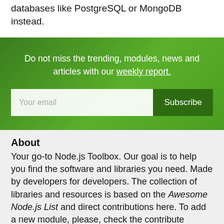if you plan to scale, it's highly recommended to use databases like PostgreSQL or MongoDB instead.
Do not miss the trending, modules, news and articles with our weekly report.
Your email
Subscribe
About
Your go-to Node.js Toolbox. Our goal is to help you find the software and libraries you need. Made by developers for developers. The collection of libraries and resources is based on the Awesome Node.js List and direct contributions here. To add a new module, please, check the contribute